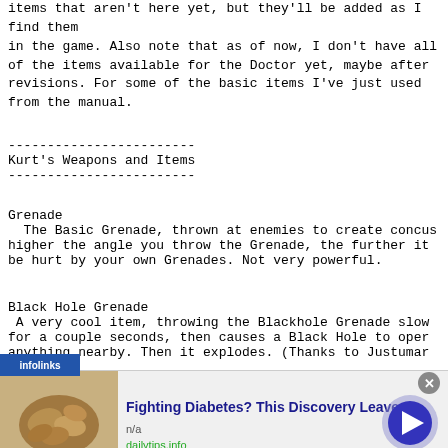items that aren't here yet, but they'll be added as I find them in the game. Also note that as of now, I don't have all of the items available for the Doctor yet, maybe after revisions. For some of the basic items I've just used from the manual.
------------------------
Kurt's Weapons and Items
------------------------
Grenade
  The Basic Grenade, thrown at enemies to create concussions. The higher the angle you throw the Grenade, the further it goes. Can be hurt by your own Grenades. Not very powerful.
Black Hole Grenade
 A very cool item, throwing the Blackhole Grenade slows down time for a couple seconds, then causes a Black Hole to open, sucking in anything nearby. Then it explodes. (Thanks to Justuman)
Super Chaingun
  An upgrade to Kurt's basic chaingun. The Super Chaingun...